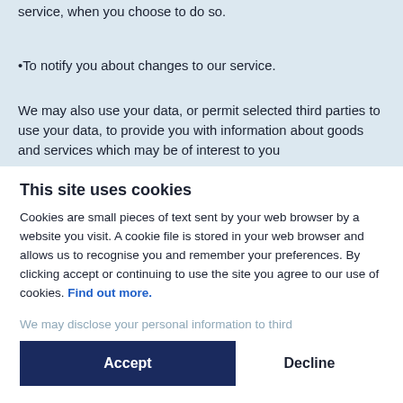To allow you to participate in interactive features of our service, when you choose to do so.
To notify you about changes to our service.
We may also use your data, or permit selected third parties to use your data, to provide you with information about goods and services which may be of interest to you and we or they may contact you about these by [post or telephone]. If you do not want us to use your data in this way, or to pass your details on to third parties for marketing purposes, please tick the following box when filling in the relevant form or untick the following box in your account settings.
This site uses cookies
Cookies are small pieces of text sent by your web browser by a website you visit. A cookie file is stored in your web browser and allows us to recognise you and remember your preferences. By clicking accept or continuing to use the site you agree to our use of cookies. Find out more.
Accept
Decline
Manage settings
We may disclose your personal information to third parties: In the event that we sell or buy any business or assets, in which case we may disclose your personal data to the